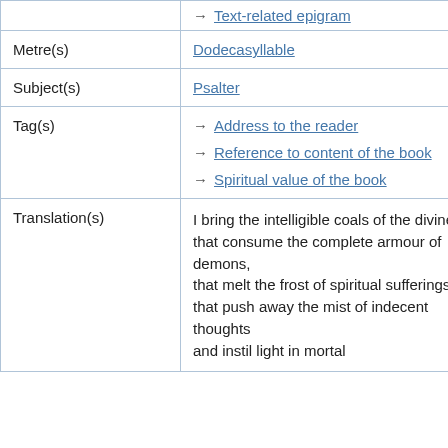| Label | Value |
| --- | --- |
|  | → Text-related epigram |
| Metre(s) | Dodecasyllable |
| Subject(s) | Psalter |
| Tag(s) | → Address to the reader
→ Reference to content of the book
→ Spiritual value of the book |
| Translation(s) | I bring the intelligible coals of the divine fire that consume the complete armour of demons, that melt the frost of spiritual sufferings, that push away the mist of indecent thoughts and instil light in mortal |